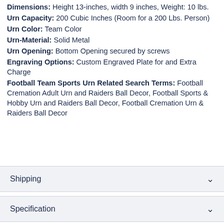Dimensions: Height 13-inches, width 9 inches, Weight: 10 lbs.
Urn Capacity: 200 Cubic Inches (Room for a 200 Lbs. Person)
Urn Color: Team Color
Urn-Material: Solid Metal
Urn Opening: Bottom Opening secured by screws
Engraving Options: Custom Engraved Plate for and Extra Charge
Football Team Sports Urn Related Search Terms: Football Cremation Adult Urn and Raiders Ball Decor, Football Sports & Hobby Urn and Raiders Ball Decor, Football Cremation Urn & Raiders Ball Decor
Shipping
Specification
Reviews & Ratings